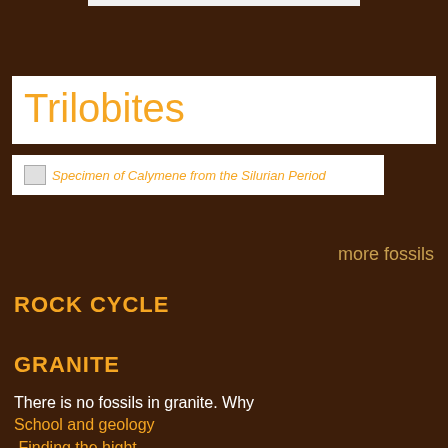Trilobites
[Figure (photo): Broken image placeholder for: Specimen of Calymene from the Silurian Period]
Specimen of Calymene from the Silurian Period
more fossils
ROCK CYCLE
GRANITE
There is no fossils in granite. Why
School and geology
 Finding the hight